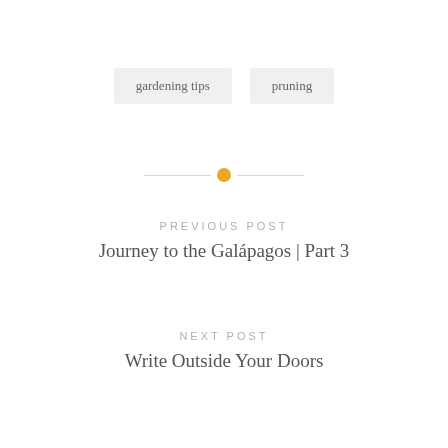gardening tips
pruning
[Figure (other): Horizontal divider line with orange circle dot in the center]
PREVIOUS POST
Journey to the Galápagos | Part 3
NEXT POST
Write Outside Your Doors